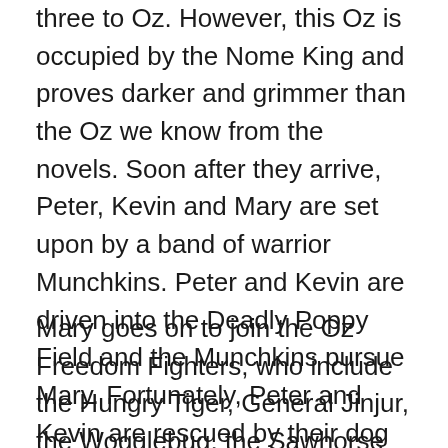three to Oz. However, this Oz is occupied by the Nome King and proves darker and grimmer than the Oz we know from the novels. Soon after they arrive, Peter, Kevin and Mary are set upon by a band of warrior Munchkins. Peter and Kevin are driven into the Deadly Poppy Field and the Munchkins pursue Mary. Fortunately, Peter and Kevin are rescued by their dog Max and Jack Pumkinhead comes to Mary's rescue.
Mary goes on to join the Oz Freedom Fighters, who include the Hungry Tiger, General Jinjur, the Wogglebug, the Sawhorse and other familiar Oz denizens. Meanwhile, Kevin and Peter battle the Scarecrow, the Tin Man, and the Cowardly Lion who have all been ensorcelled by the witch Mombi. The interior art for Caliber's Oz is all in black and white which suits this comic's darker tone. It appears that characters can die in this version of Oz, though some